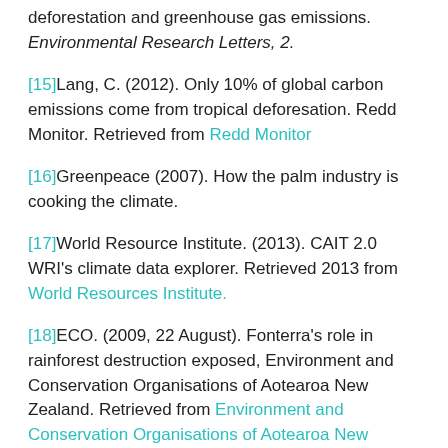deforestation and greenhouse gas emissions. Environmental Research Letters, 2.
[15] Lang, C. (2012). Only 10% of global carbon emissions come from tropical deforesation. Redd Monitor. Retrieved from Redd Monitor
[16] Greenpeace (2007). How the palm industry is cooking the climate.
[17] World Resource Institute. (2013). CAIT 2.0 WRI's climate data explorer. Retrieved 2013 from World Resources Institute.
[18] ECO. (2009, 22 August). Fonterra's role in rainforest destruction exposed, Environment and Conservation Organisations of Aotearoa New Zealand. Retrieved from Environment and Conservation Organisations of Aotearoa New